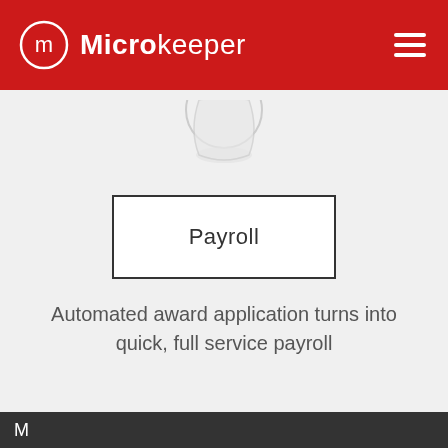Microkeeper
[Figure (logo): Partial circular logo/icon visible at top center below header]
Payroll
Automated award application turns into quick, full service payroll
M